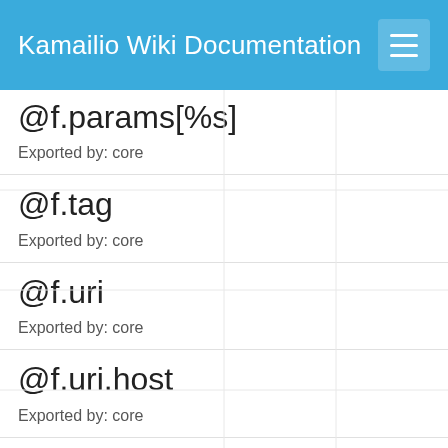Kamailio Wiki Documentation
@f.params[%s]
Exported by: core
@f.tag
Exported by: core
@f.uri
Exported by: core
@f.uri.host
Exported by: core
@f.uri.hostport
Exported by: core